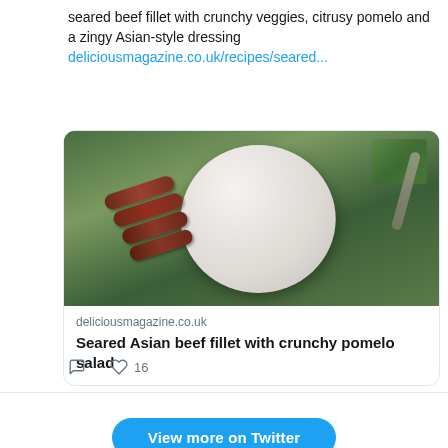seared beef fillet with crunchy veggies, citrusy pomelo and a zingy Asian-style dressing
deliciousmagazine.co.uk/recipes/seared...
[Figure (photo): Photo of seared Asian beef fillet slices on a decorative plate with crunchy vegetables and green beans salad. Below the photo: site credit 'deliciousmagazine.co.uk' and card title 'Seared Asian beef fillet with crunchy pomelo salad']
16
View more on Twitter